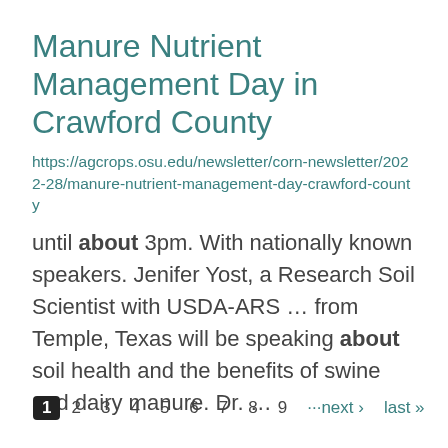Manure Nutrient Management Day in Crawford County
https://agcrops.osu.edu/newsletter/corn-newsletter/2022-28/manure-nutrient-management-day-crawford-county
until about 3pm. With nationally known speakers. Jenifer Yost, a Research Soil Scientist with USDA-ARS ... from Temple, Texas will be speaking about soil health and the benefits of swine and dairy manure. Dr. ...
1 2 3 4 5 6 7 8 9 ···next › last »